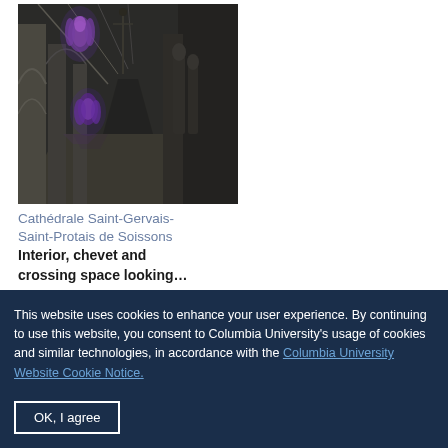[Figure (photo): Interior of Cathédrale Saint-Gervais-Saint-Protais de Soissons, showing gothic arches, vaulted ceilings, and stained glass windows in purple/violet tones]
Cathédrale Saint-Gervais-Saint-Protais de Soissons Interior, chevet and crossing space looking...
This website uses cookies to enhance your user experience. By continuing to use this website, you consent to Columbia University's usage of cookies and similar technologies, in accordance with the Columbia University Website Cookie Notice.
OK, I agree